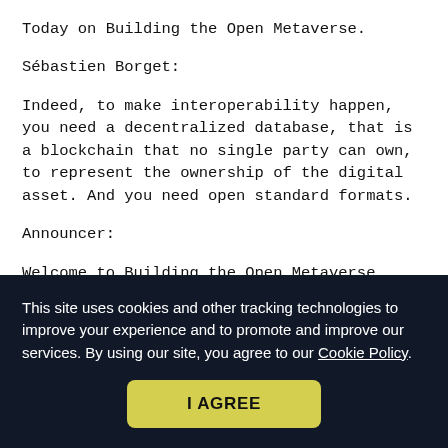Today on Building the Open Metaverse.
Sébastien Borget:
Indeed, to make interoperability happen, you need a decentralized database, that is a blockchain that no single party can own, to represent the ownership of the digital asset. And you need open standard formats.
Announcer:
Welcome to Building the Open Metaverse, where technology experts discuss how the community is
This site uses cookies and other tracking technologies to improve your experience and to promote and improve our services. By using our site, you agree to our Cookie Policy.
I AGREE